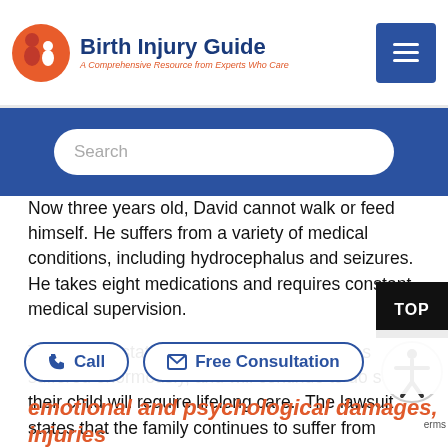[Figure (logo): Birth Injury Guide logo with circular icon showing a baby and adult silhouette in red/orange, with bold blue text 'Birth Injury Guide' and red italic subtitle 'A Comprehensive Resource from Experts Who Care']
Now three years old, David cannot walk or feed himself. He suffers from a variety of medical conditions, including hydrocephalus and seizures. He takes eight medications and requires constant medical supervision.
The lawsuit states that the Tejada family has suffered enormously, and will continue to do so as their child will require lifelong care. The lawsuit states that the family continues to suffer from
emotional and psychological damages, injuries